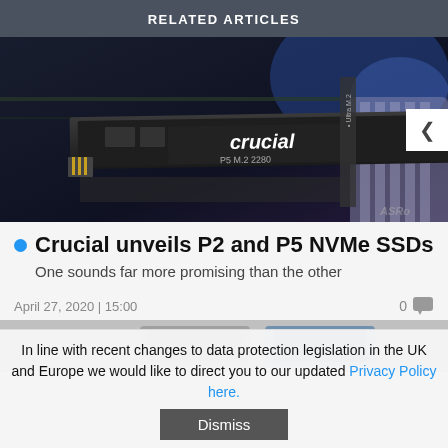RELATED ARTICLES
[Figure (photo): Photo of a Crucial P5 M.2 2280 NVMe SSD card on a dark motherboard background with blue lighting. A navigation arrow button is visible on the right side.]
Crucial unveils P2 and P5 NVMe SSDs
One sounds far more promising than the other
April 27, 2020 | 15:00
[Figure (photo): Partial thumbnail of a next related article showing two storage devices.]
In line with recent changes to data protection legislation in the UK and Europe we would like to direct you to our updated Privacy Policy here.
Dismiss